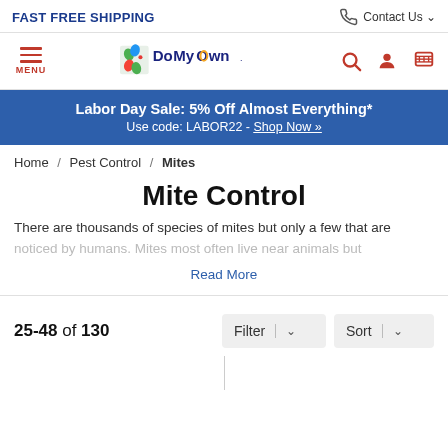FAST FREE SHIPPING | Contact Us
[Figure (logo): DoMyOwn.com logo with leaf/paw icon and yellow ribbon]
Labor Day Sale: 5% Off Almost Everything* Use code: LABOR22 - Shop Now »
Home / Pest Control / Mites
Mite Control
There are thousands of species of mites but only a few that are noticed by humans. Mites most often live near animals but
Read More
25-48 of 130
Filter
Sort